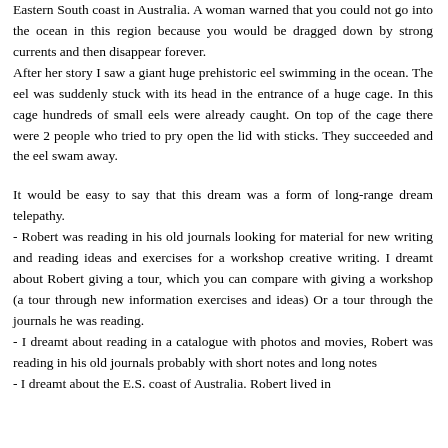Eastern South coast in Australia. A woman warned that you could not go into the ocean in this region because you would be dragged down by strong currents and then disappear forever.
After her story I saw a giant huge prehistoric eel swimming in the ocean. The eel was suddenly stuck with its head in the entrance of a huge cage. In this cage hundreds of small eels were already caught. On top of the cage there were 2 people who tried to pry open the lid with sticks. They succeeded and the eel swam away.

It would be easy to say that this dream was a form of long-range dream telepathy.
- Robert was reading in his old journals looking for material for new writing and reading ideas and exercises for a workshop creative writing. I dreamt about Robert giving a tour, which you can compare with giving a workshop (a tour through new information exercises and ideas) Or a tour through the journals he was reading.
- I dreamt about reading in a catalogue with photos and movies, Robert was reading in his old journals probably with short notes and long notes
- I dreamt about the E.S. coast of Australia. Robert lived in